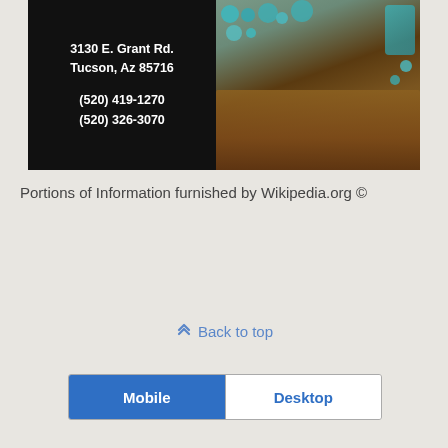[Figure (photo): Jewelry store advertisement with black background showing address '3130 E. Grant Rd. Tucson, Az 85716' and phone numbers '(520) 419-1270' and '(520) 326-3070' on the left, and a photo of turquoise jewelry pieces in a wooden display box on the right.]
Portions of Information furnished by Wikipedia.org ©
Back to top
Mobile	Desktop